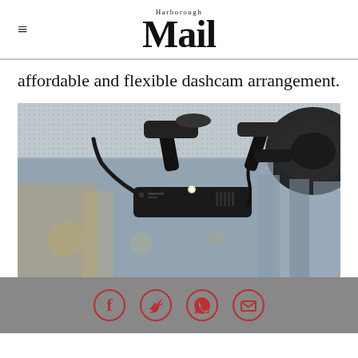Harborough Mail
affordable and flexible dashcam arrangement.
[Figure (photo): A dashcam device mounted beneath a car's rearview mirror area, close-up photo showing the black rectangular device with cables and mount hardware against a blurred urban background.]
Social share icons: Facebook, Twitter, WhatsApp, Email